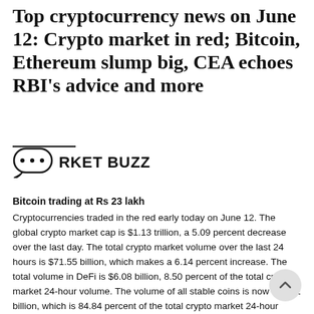Top cryptocurrency news on June 12: Crypto market in red; Bitcoin, Ethereum slump big, CEA echoes RBI's advice and more
MARKET BUZZ
Bitcoin trading at Rs 23 lakh
Cryptocurrencies traded in the red early today on June 12. The global crypto market cap is $1.13 trillion, a 5.09 percent decrease over the last day. The total crypto market volume over the last 24 hours is $71.55 billion, which makes a 6.14 percent increase. The total volume in DeFi is $6.08 billion, 8.50 percent of the total crypto market 24-hour volume. The volume of all stable coins is now $60.71 billion, which is 84.84 percent of the total crypto market 24-hour volume. The price of Bitcoin is currently Rs 23 lakh, with a